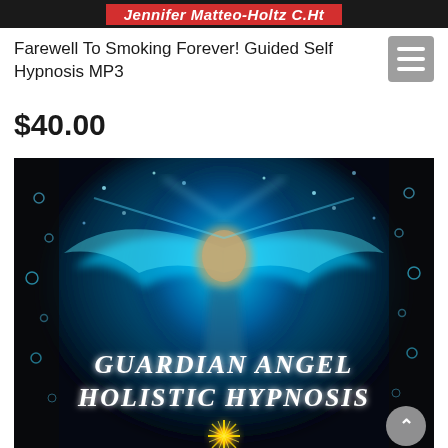Jennifer Matteo-Holtz C.Ht
Farewell To Smoking Forever! Guided Self Hypnosis MP3
$40.00
[Figure (illustration): Book cover for 'Guardian Angel Holistic Hypnosis' featuring a glowing angelic figure with blue luminescent wings surrounded by sparkling light and bubbles on a dark background, with the text 'GUARDIAN ANGEL HOLISTIC HYPNOSIS' in white serif font and a golden starburst at the bottom.]